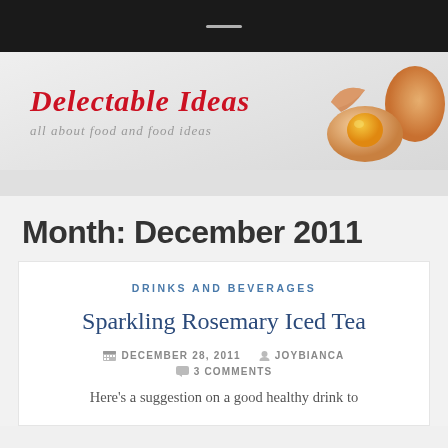Delectable Ideas — all about food and food ideas
Month: December 2011
DRINKS AND BEVERAGES
Sparkling Rosemary Iced Tea
DECEMBER 28, 2011   JOYBIANCA   3 COMMENTS
Here's a suggestion on a good healthy drink to